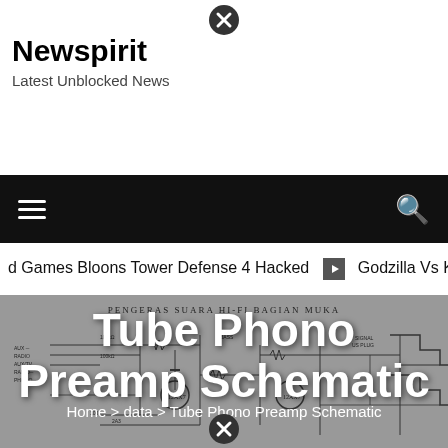Newspirit
Latest Unblocked News
[Figure (screenshot): Website navigation bar with hamburger menu icon on left and search icon on right, black background]
d Games Bloons Tower Defense 4 Hacked  ❯  Godzilla Vs K
[Figure (schematic): Tube Phono Preamp Schematic - circuit diagram labeled PENGERAS SUARA HI-FI BAGIAN MUKA with vacuum tubes and components]
Tube Phono Preamp Schematic
Home > data > Tube Phono Preamp Schematic